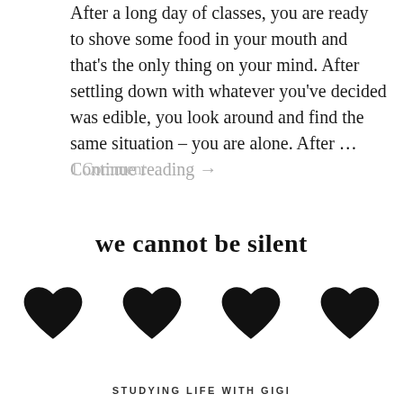After a long day of classes, you are ready to shove some food in your mouth and that's the only thing on your mind. After settling down with whatever you've decided was edible, you look around and find the same situation – you are alone. After … Continue reading →
1 Comment
we cannot be silent
[Figure (illustration): Four black heart symbols arranged in a row]
STUDYING LIFE WITH GIGI